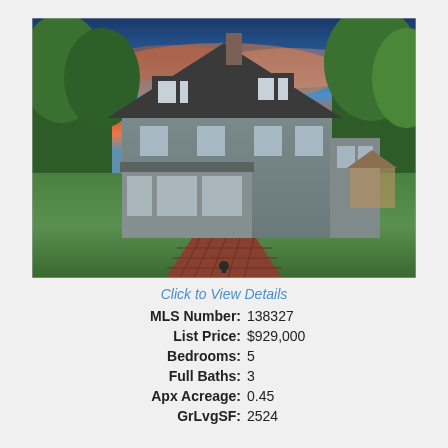[Figure (photo): Exterior photo of a Cape Cod style house with dark gray roof, white windows, screened porch addition, red brick walkway, green lawn, surrounding trees, and sunset sky with orange and blue clouds.]
Click to View Details
| MLS Number: | 138327 |
| List Price: | $929,000 |
| Bedrooms: | 5 |
| Full Baths: | 3 |
| Apx Acreage: | 0.45 |
| GrLvgSF: | 2524 |